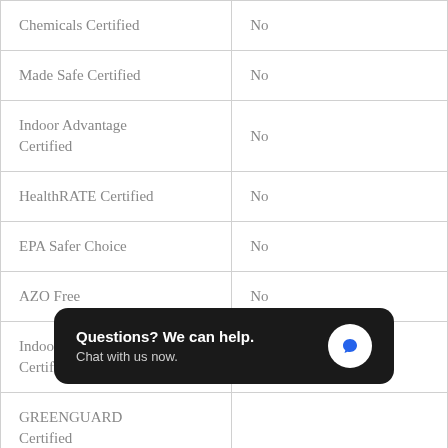| Chemicals Certified | No |
| Made Safe Certified | No |
| Indoor Advantage Certified | No |
| HealthRATE Certified | No |
| EPA Safer Choice | No |
| AZO Free | No |
| Indoor Air Quality Certifications | No |
| GREENGUARD Certified |  |
| GREENGUARD Gold |  |